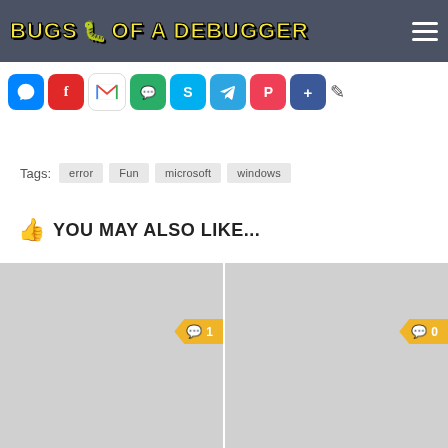BUGS OF A DEBUGGER
[Figure (screenshot): Row of social media share icons: Messenger, Flipboard, Gmail, WeChat, Skype, Telegram, Pocket, Share, Edit]
Tags: error  Fun  microsoft  windows
YOU MAY ALSO LIKE...
[Figure (screenshot): Two gray placeholder image cards side by side, each with a comment badge showing 1 and 0 respectively]